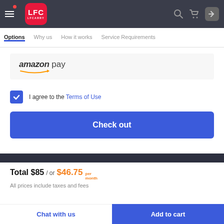LFC LFCARRY — navigation header with logo, search, cart, login icons
Options | Why us | How it works | Service Requirements
[Figure (logo): Amazon Pay logo with smile graphic]
I agree to the Terms of Use
Check out
Total $85 / or $46.75 per month
All prices include taxes and fees
Chat with us   Add to cart